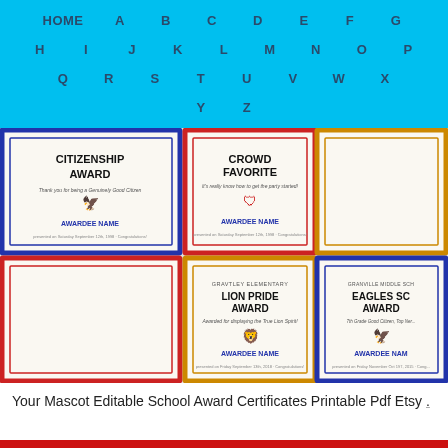HOME A B C D E F G H I J K L M N O P Q R S T U V W X Y Z
[Figure (photo): Grid of school award certificate thumbnails including Citizenship Award, Crowd Favorite, Lion Pride Award, and Eagles SC Award with decorative borders]
Your Mascot Editable School Award Certificates Printable Pdf Etsy .